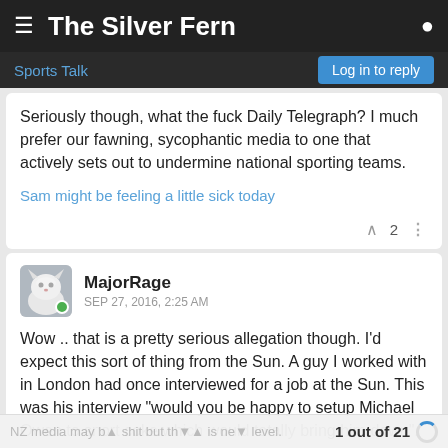The Silver Fern
Sports Talk
Seriously though, what the fuck Daily Telegraph? I much prefer our fawning, sycophantic media to one that actively sets out to undermine national sporting teams.
Sam might be feeling a little sick today
MajorRage — SEP 27, 2016, 2:25 AM
Wow .. that is a pretty serious allegation though. I'd expect this sort of thing from the Sun. A guy I worked with in London had once interviewed for a job at the Sun. This was his interview "would you be happy to setup Michael Owen to snort coke which would totally bring him down".
1 out of 21